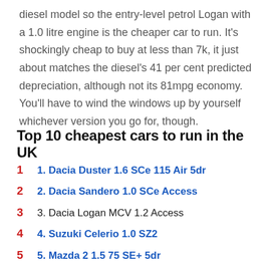diesel model so the entry-level petrol Logan with a 1.0 litre engine is the cheaper car to run. It's shockingly cheap to buy at less than 7k, it just about matches the diesel's 41 per cent predicted depreciation, although not its 81mpg economy. You'll have to wind the windows up by yourself whichever version you go for, though.
Top 10 cheapest cars to run in the UK
1. Dacia Duster 1.6 SCe 115 Air 5dr
2. Dacia Sandero 1.0 SCe Access
3. Dacia Logan MCV 1.2 Access
4. Suzuki Celerio 1.0 SZ2
5. Mazda 2 1.5 75 SE+ 5dr
6. Kia Picanto 1.0 65 1 3dr